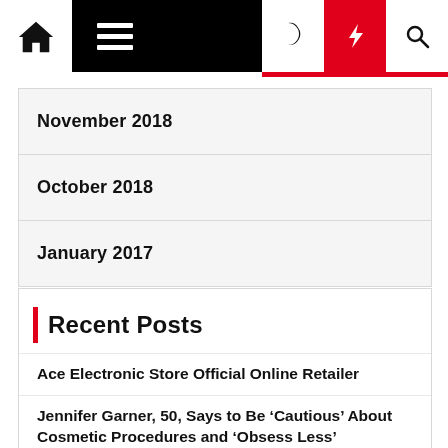Navigation bar with home, menu, dark mode, lightning, and search icons
November 2018
October 2018
January 2017
Recent Posts
Ace Electronic Store Official Online Retailer
Jennifer Garner, 50, Says to Be ‘Cautious’ About Cosmetic Procedures and ‘Obsess Less’
Dior Teams With Lucibel for LED Beauty Mask